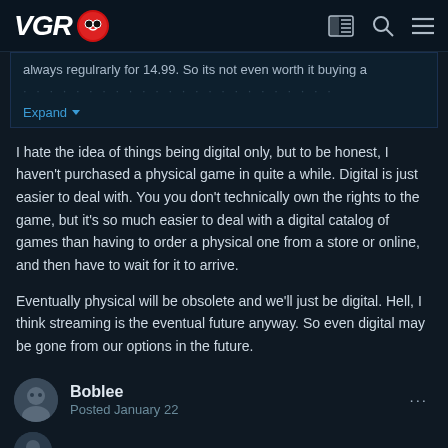VGR [logo]
always regulrarly for 14.99. So its not even worth it buying a [blurred text]
Expand
I hate the idea of things being digital only, but to be honest, I haven't purchased a physical game in quite a while. Digital is just easier to deal with. You you don't technically own the rights to the game, but it's so much easier to deal with a digital catalog of games than having to order a physical one from a store or online, and then have to wait for it to arrive.

Eventually physical will be obsolete and we'll just be digital. Hell, I think streaming is the eventual future anyway. So even digital may be gone from our options in the future.
Boblee
Posted January 22